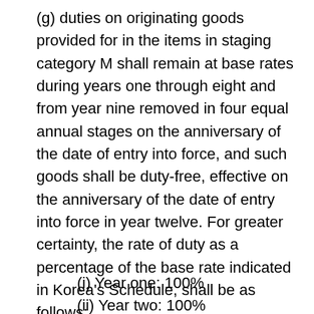(g) duties on originating goods provided for in the items in staging category M shall remain at base rates during years one through eight and from year nine removed in four equal annual stages on the anniversary of the date of entry into force, and such goods shall be duty-free, effective on the anniversary of the date of entry into force in year twelve. For greater certainty, the rate of duty as a percentage of the base rate indicated in Korea's Schedule, shall be as follows:
(i) Year one: 100%
(ii) Year two: 100%